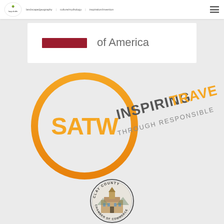[Figure (logo): Website navigation bar with a tree/landscape logo on the left, navigation links in the middle, and a hamburger menu icon on the right]
[Figure (logo): Partial banner showing 'of America' text with a dark red/maroon rectangular logo element on white background]
[Figure (logo): SATW logo: orange circle with SATW text inside, with tagline 'INSPIRING TRAVEL THROUGH RESPONSIBLE JOURNALISM' in orange and gray text]
[Figure (logo): Clay County Chamber of Commerce circular seal logo showing a historic courthouse building]